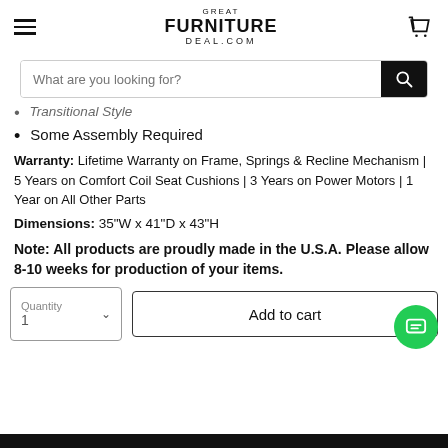Great Furniture Deal.com
Transitional Style
Some Assembly Required
Warranty: Lifetime Warranty on Frame, Springs & Recline Mechanism | 5 Years on Comfort Coil Seat Cushions | 3 Years on Power Motors | 1 Year on All Other Parts
Dimensions: 35"W x 41"D x 43"H
Note: All products are proudly made in the U.S.A. Please allow 8-10 weeks for production of your items.